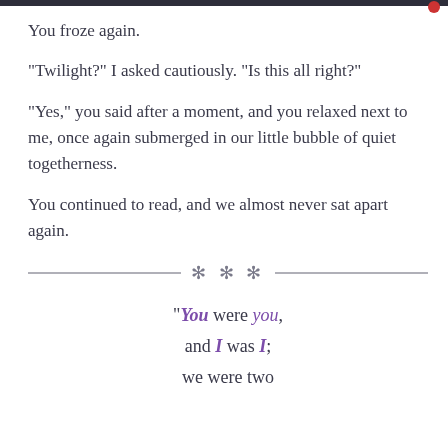You froze again.
“Twilight?” I asked cautiously. “Is this all right?”
“Yes,” you said after a moment, and you relaxed next to me, once again submerged in our little bubble of quiet togetherness.
You continued to read, and we almost never sat apart again.
✱ ✱ ✱
“You were you, and I was I; we were two